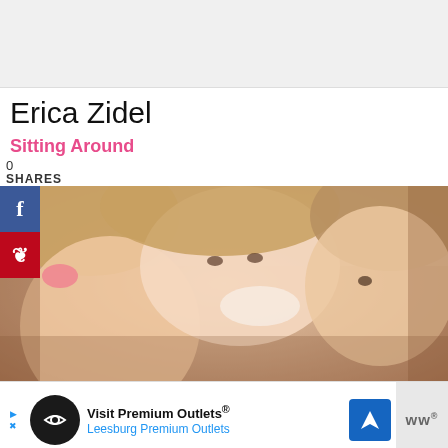[Figure (other): Gray/white rectangular placeholder image at top of page]
Erica Zidel
Sitting Around
0
SHARES
[Figure (photo): A smiling woman taking a selfie with two young children, a girl with a pink bow on the left and a boy on the right]
Visit Premium Outlets® Leesburg Premium Outlets